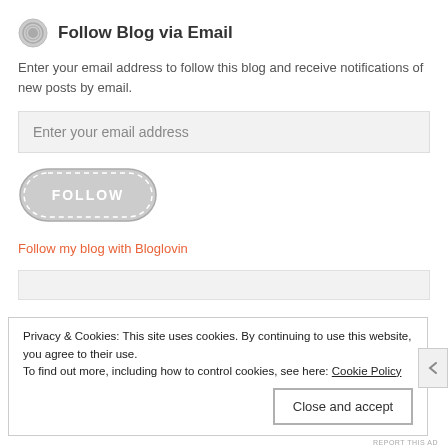Follow Blog via Email
Enter your email address to follow this blog and receive notifications of new posts by email.
[Figure (other): Email address input field with placeholder text 'Enter your email address']
[Figure (other): Grey rounded FOLLOW button with dashed border]
Follow my blog with Bloglovin
Privacy & Cookies: This site uses cookies. By continuing to use this website, you agree to their use.
To find out more, including how to control cookies, see here: Cookie Policy
Close and accept